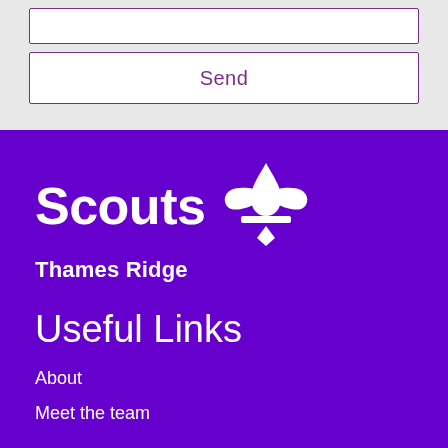Send
[Figure (logo): Scouts Thames Ridge logo with fleur-de-lis symbol on purple background]
Useful Links
About
Meet the team